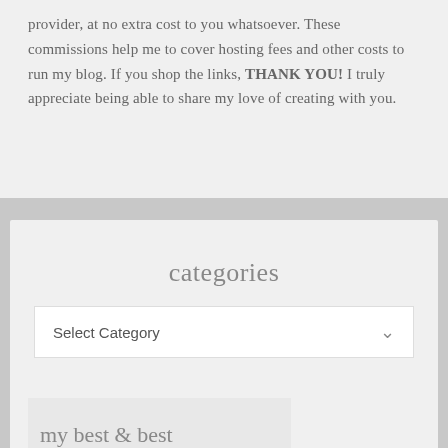provider, at no extra cost to you whatsoever. These commissions help me to cover hosting fees and other costs to run my blog. If you shop the links, THANK YOU! I truly appreciate being able to share my love of creating with you.
categories
Select Category
[Figure (other): Partial view of a bottom card section with a light gray image placeholder and partial cursive script text at the bottom]